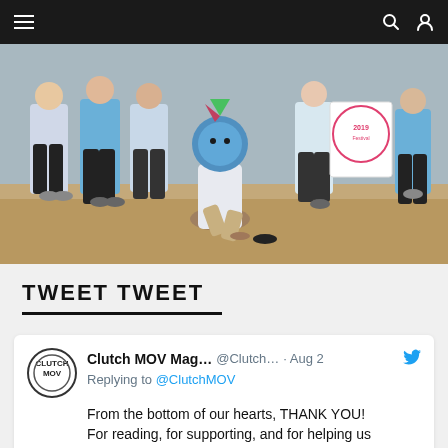Navigation bar with hamburger menu, search icon, and user icon
[Figure (photo): Group of people in white and blue athletic shirts posing outdoors on sandy ground. One person in foreground is crouching and wearing a colorful dragon/dinosaur hood costume. Others stand in the background; one holds a sign reading 2019.]
TWEET TWEET
Clutch MOV Mag… @Clutch… · Aug 2
Replying to @ClutchMOV
From the bottom of our hearts, THANK YOU! For reading, for supporting, and for helping us